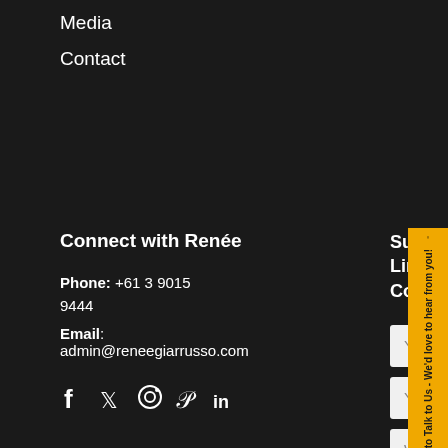Media
Contact
Connect with Renée
Phone: +61 3 9015 9444
Email: admin@reneegiarrusso.com
[Figure (infographic): Social media icons: Facebook, Twitter, Instagram, Pinterest, LinkedIn]
Subscribe to the Limitless Leaders™ Connection Blog
Your Name (form input)
Your Email (form input)
What is your role (form dropdown)
[Figure (infographic): Yellow sidebar with microphone icon and rotated text: Talk to Us - We'd love to hear from you!]